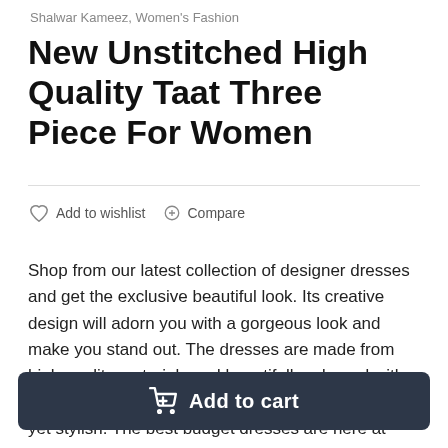Shalwar Kameez, Women's Fashion
New Unstitched High Quality Taat Three Piece For Women
Add to wishlist   Compare
Shop from our latest collection of designer dresses and get the exclusive beautiful look. Its creative design will adorn you with a gorgeous look and make you stand out. The dresses are made from high quality materials and beautifully adorned with eye-catchy designs. It helps you look simple, sober yet stylish. The best budget dresses are here at iznan. The material of the fabric, unique color combination, exclusive designs will surely satisfy you.
750
Add to cart